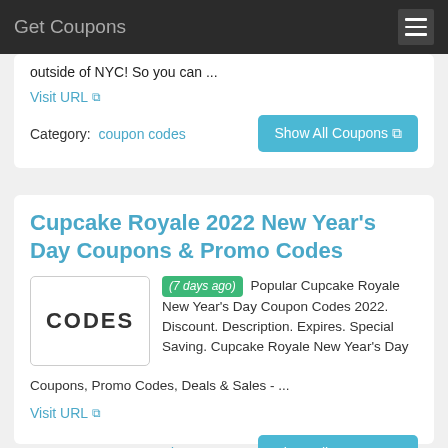Get Coupons
outside of NYC! So you can ...
Visit URL
Category: coupon codes
Show All Coupons
Cupcake Royale 2022 New Year's Day Coupons & Promo Codes
(7 days ago) Popular Cupcake Royale New Year's Day Coupon Codes 2022. Discount. Description. Expires. Special Saving. Cupcake Royale New Year's Day Coupons, Promo Codes, Deals & Sales - ...
Visit URL
Category: Coupon codes
Show All Coupons